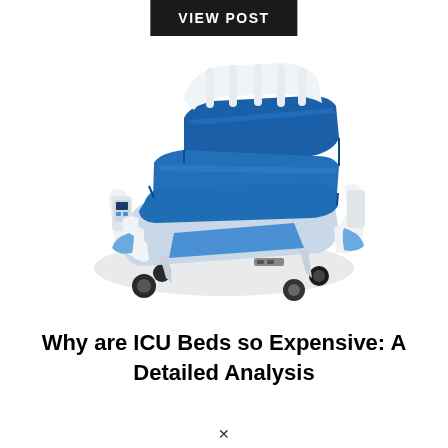VIEW POST
[Figure (photo): An ICU hospital bed with blue mattress sections, white frame, side rails, digital control panel, and caster wheels. The bed is shown in a semi-reclined position at an angle.]
Why are ICU Beds so Expensive: A Detailed Analysis